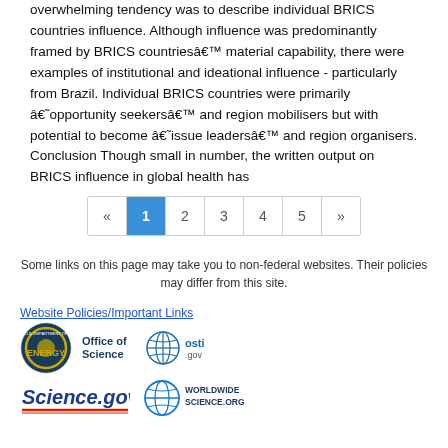overwhelming tendency was to describe individual BRICS countries influence. Although influence was predominantly framed by BRICS countriesâ€™ material capability, there were examples of institutional and ideational influence - particularly from Brazil. Individual BRICS countries were primarily â€˜opportunity seekersâ€™ and region mobilisers but with potential to become â€˜issue leadersâ€™ and region organisers. Conclusion Though small in number, the written output on BRICS influence in global health has
«  1  2  3  4  5  »
Some links on this page may take you to non-federal websites. Their policies may differ from this site.
Website Policies/Important Links
[Figure (logo): U.S. Department of Energy - Office of Science logo]
[Figure (logo): osti.gov logo]
[Figure (logo): Science.gov logo]
[Figure (logo): WorldWideScience.org logo]